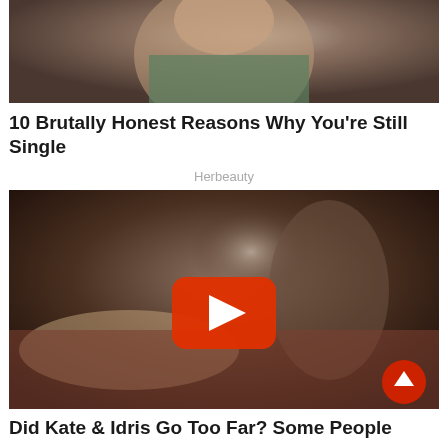[Figure (photo): Woman in green top biting her finger, looking at camera, against grey background]
10 Brutally Honest Reasons Why You’re Still Single
Herbeauty
[Figure (photo): Two people lying on a bed in an intimate scene, with a YouTube-style play button overlay and a red scroll-to-top button in the bottom right corner]
Did Kate & Idris Go Too Far? Some People